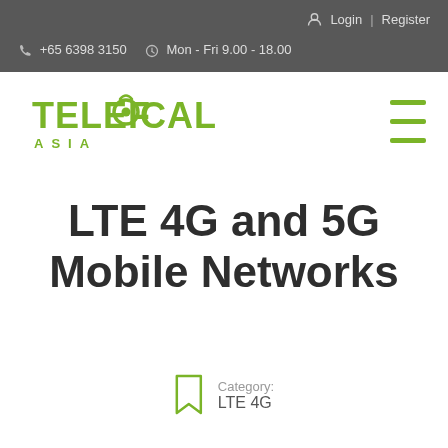Login | Register
+65 6398 3150   Mon - Fri 9.00 - 18.00
[Figure (logo): Telefocal Asia logo in olive/green text]
LTE 4G and 5G Mobile Networks
Category: LTE 4G